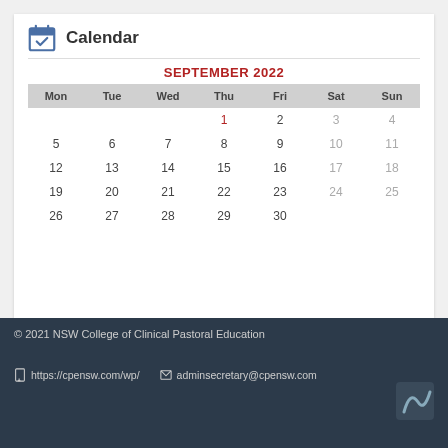Calendar
| Mon | Tue | Wed | Thu | Fri | Sat | Sun |
| --- | --- | --- | --- | --- | --- | --- |
|  |  |  | 1 | 2 | 3 | 4 |
| 5 | 6 | 7 | 8 | 9 | 10 | 11 |
| 12 | 13 | 14 | 15 | 16 | 17 | 18 |
| 19 | 20 | 21 | 22 | 23 | 24 | 25 |
| 26 | 27 | 28 | 29 | 30 |  |  |
© 2021 NSW College of Clinical Pastoral Education
https://cpensw.com/wp/
adminsecretary@cpensw.com